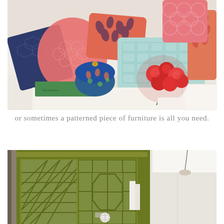[Figure (photo): A white sofa with many decorative throw pillows in coral, navy blue, mint/aqua geometric and floral patterns. On a coffee table in front: a green book, blue decorative lidded bowl, and a bouquet of red roses on a tray.]
or sometimes a patterned piece of furniture is all you need.
[Figure (photo): An olive/chartreuse green painted display cabinet with ornate fretwork glass doors, featuring geometric lattice patterns and octagonal details, photographed from below against a white ceiling.]